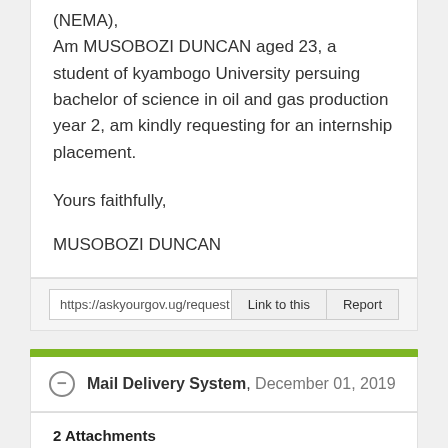(NEMA),
Am MUSOBOZI DUNCAN aged 23, a student of kyambogo University persuing bachelor of science in oil and gas production year 2, am kindly requesting for an internship placement.

Yours faithfully,

MUSOBOZI DUNCAN
https://askyourgov.ug/request
Link to this
Report
Mail Delivery System, December 01, 2019
2 Attachments